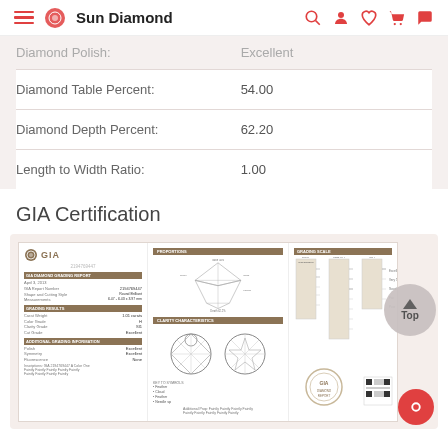Sun Diamond
| Field | Value |
| --- | --- |
| Diamond Polish: | Excellent |
| Diamond Table Percent: | 54.00 |
| Diamond Depth Percent: | 62.20 |
| Length to Width Ratio: | 1.00 |
GIA Certification
[Figure (other): GIA diamond grading report document showing certificate with GIA logo, grading details, diamond proportion diagram, clarity plot, and grading scales]